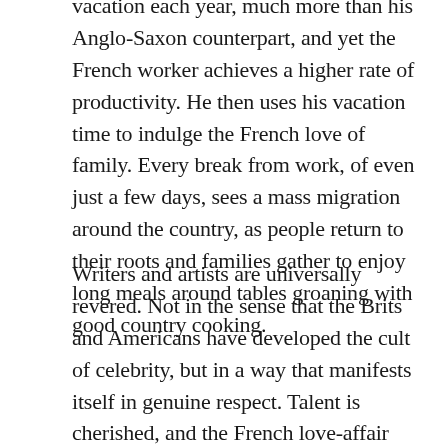The average French worker enjoys at least five weeks vacation each year, much more than his Anglo-Saxon counterpart, and yet the French worker achieves a higher rate of productivity. He then uses his vacation time to indulge the French love of family. Every break from work, of even just a few days, sees a mass migration around the country, as people return to their roots and families gather to enjoy long meals around tables groaning with good country cooking.
Writers and artists are universally revered. Not in the sense that the Brits and Americans have developed the cult of celebrity, but in a way that manifests itself in genuine respect. Talent is cherished, and the French love-affair with the written word is undiminished. Every village, small and medium-sized town, and city, has its own annual book fair. Writers are invited, and people flock in their thousands to meet them, to buy their books and have them inscribed with very personal dedications.